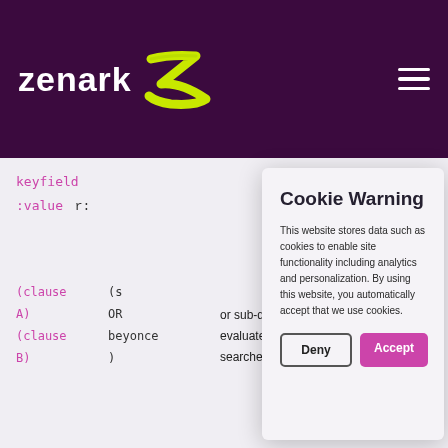[Figure (screenshot): Zenark website header with dark purple background, 'zenark' logo in white with a lime-green stylized Z mark, and a hamburger menu icon on the right]
keyfield:value
r:
[Figure (screenshot): Cookie Warning modal dialog with title 'Cookie Warning', body text about cookies, and two buttons: 'Deny' and 'Accept']
Cookie Warning
This website stores data such as cookies to enable site functionality including analytics and personalization. By using this website, you automatically accept that we use cookies.
(clause A)
(clause B)
(s
OR
beyonce
)
or sub-query. Bracketed items are evaluated first. Our example searches titles from a small set of